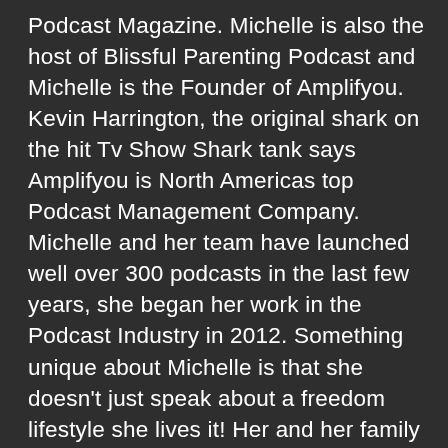Podcast Magazine. Michelle is also the host of Blissful Parenting Podcast and Michelle is the Founder of Amplifyou. Kevin Harrington, the original shark on the hit Tv Show Shark tank says Amplifyou is North Americas top Podcast Management Company. Michelle and her team have launched well over 300 podcasts in the last few years, she began her work in the Podcast Industry in 2012. Something unique about Michelle is that she doesn't just speak about a freedom lifestyle she lives it! Her and her family live off the grid on the boat access side of a lake you'll find Michelle driving her kids to the school bus by boat or jet ski all while running a 100% online multi 6 figure business!